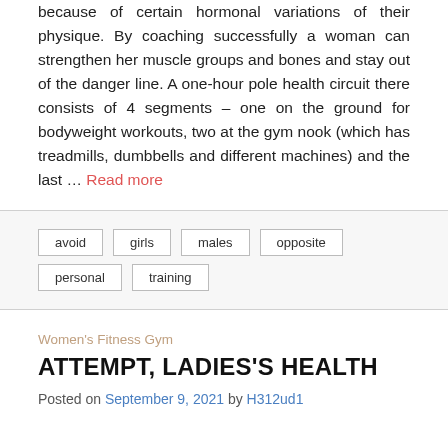because of certain hormonal variations of their physique. By coaching successfully a woman can strengthen her muscle groups and bones and stay out of the danger line. A one-hour pole health circuit there consists of 4 segments – one on the ground for bodyweight workouts, two at the gym nook (which has treadmills, dumbbells and different machines) and the last … Read more
avoid
girls
males
opposite
personal
training
Women's Fitness Gym
ATTEMPT, LADIES'S HEALTH
Posted on September 9, 2021 by H312ud1